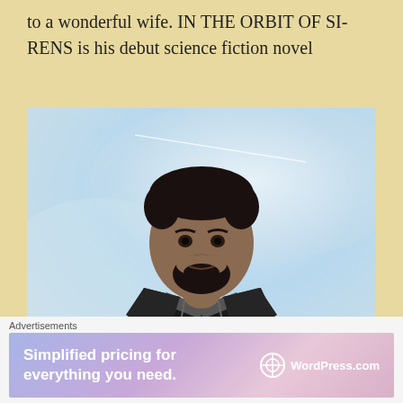to a wonderful wife. IN THE ORBIT OF SIRENS is his debut science fiction novel
[Figure (photo): Portrait photo of a man with short dark hair and beard, wearing a black leather jacket over a gray hoodie, with a light blue sky background.]
Advertisements
[Figure (screenshot): WordPress.com advertisement banner with gradient background. Text reads: Simplified pricing for everything you need. WordPress.com logo on right.]